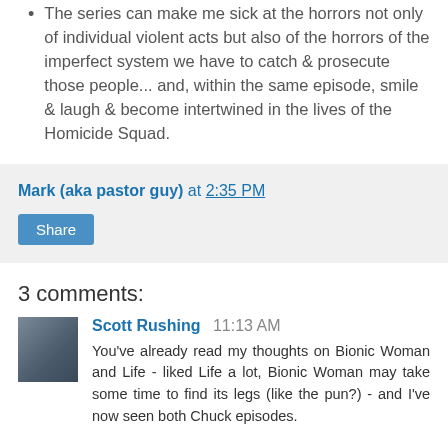The series can make me sick at the horrors not only of individual violent acts but also of the horrors of the imperfect system we have to catch & prosecute those people... and, within the same episode, smile & laugh & become intertwined in the lives of the Homicide Squad.
Mark (aka pastor guy) at 2:35 PM
Share
3 comments:
Scott Rushing 11:13 AM
You've already read my thoughts on Bionic Woman and Life - liked Life a lot, Bionic Woman may take some time to find its legs (like the pun?) - and I've now seen both Chuck episodes.